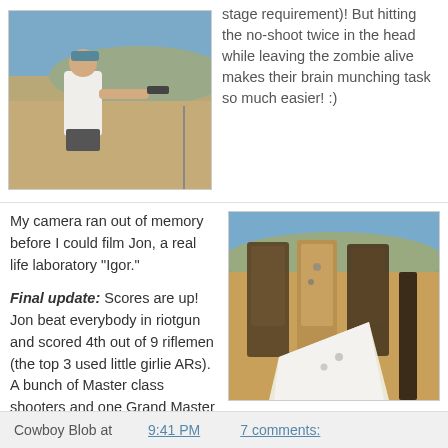[Figure (photo): Person in white shirt and hat aiming a handgun at an outdoor shooting range with desert hills in background]
stage requirement)! But hitting the no-shoot twice in the head while leaving the zombie alive makes their brain munching task so much easier! :)
My camera ran out of memory before I could film Jon, a real life laboratory "Igor."
Final update: Scores are up! Jon beat everybody in riotgun and scored 4th out of 9 riflemen (the top 3 used little girlie ARs). A bunch of Master class shooters and one Grand Master blazed through the course, but didn't have as much fun as we did!
[Figure (photo): Shooting range targets - cardboard silhouette targets with bullet holes, including a white no-shoot target in foreground]
Cowboy Blob at 9:41 PM   7 comments: